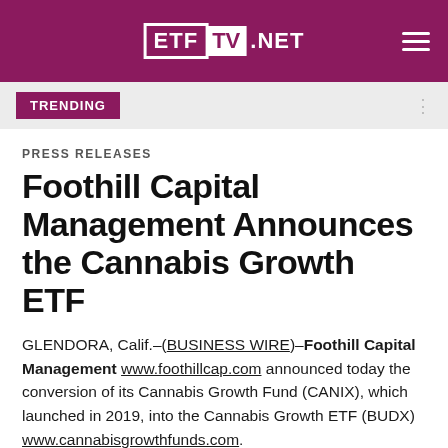ETF TV .NET
TRENDING
PRESS RELEASES
Foothill Capital Management Announces the Cannabis Growth ETF
GLENDORA, Calif.–(BUSINESS WIRE)–Foothill Capital Management www.foothillcap.com announced today the conversion of its Cannabis Growth Fund (CANIX), which launched in 2019, into the Cannabis Growth ETF (BUDX) www.cannabisgrowthfunds.com.